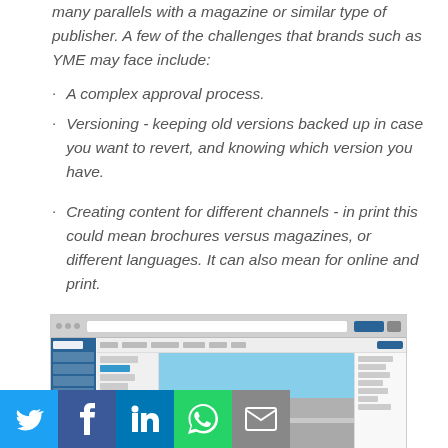many parallels with a magazine or similar type of publisher. A few of the challenges that brands such as YME may face include:
A complex approval process.
Versioning - keeping old versions backed up in case you want to revert, and knowing which version you have.
Creating content for different channels - in print this could mean brochures versus magazines, or different languages. It can also mean for online and print.
[Figure (screenshot): Screenshot of a web-based content management or digital asset management application interface showing a browser window with a sidebar navigation, content listing panel, a central image of a building/street scene, and a right-side properties panel. Social media sharing buttons (Twitter, Facebook, LinkedIn, WhatsApp, Email) are overlaid at the bottom left.]